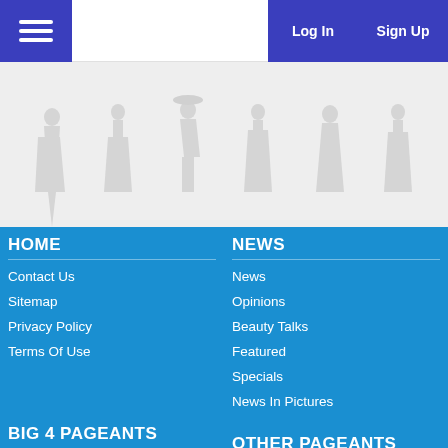Log In | Sign Up
[Figure (illustration): Decorative banner with silhouettes of pageant contestants in gowns and walking poses on a light gray background]
HOME
Contact Us
Sitemap
Privacy Policy
Terms Of Use
NEWS
News
Opinions
Beauty Talks
Featured
Specials
News In Pictures
BIG 4 PAGEANTS
Miss World
Miss Universe
OTHER PAGEANTS
Miss Supranational
Miss Grand International